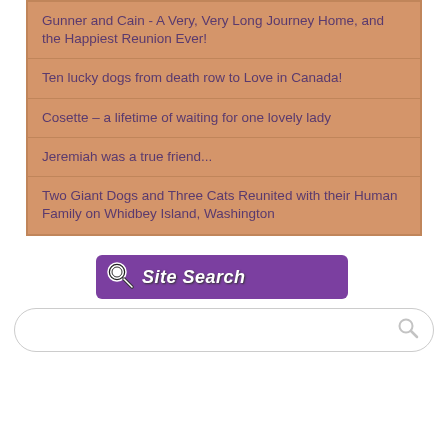Gunner and Cain - A Very, Very Long Journey Home, and the Happiest Reunion Ever!
Ten lucky dogs from death row to Love in Canada!
Cosette – a lifetime of waiting for one lovely lady
Jeremiah was a true friend...
Two Giant Dogs and Three Cats Reunited with their Human Family on Whidbey Island, Washington
[Figure (screenshot): Purple 'Site Search' banner button with magnifying glass icon on the left and bold italic white text 'Site Search']
[Figure (screenshot): Search input box with rounded corners and a magnifying glass icon on the right side]